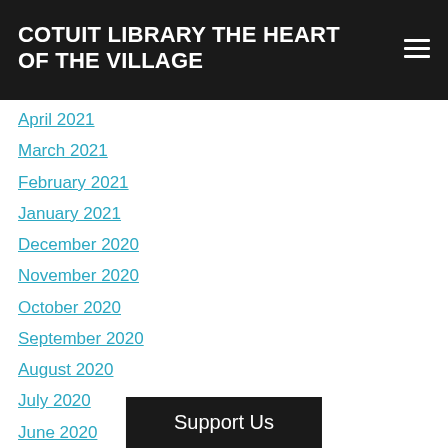COTUIT LIBRARY THE HEART OF THE VILLAGE
April 2021
March 2021
February 2021
January 2021
December 2020
November 2020
October 2020
September 2020
August 2020
July 2020
June 2020
May 2020
April 2020
Categories
All
Support Us